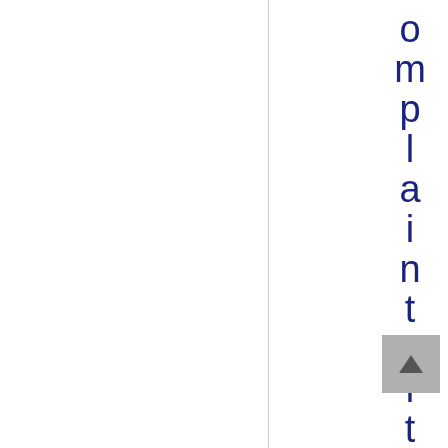omplaint with the su
[Figure (other): Back to top button arrow]